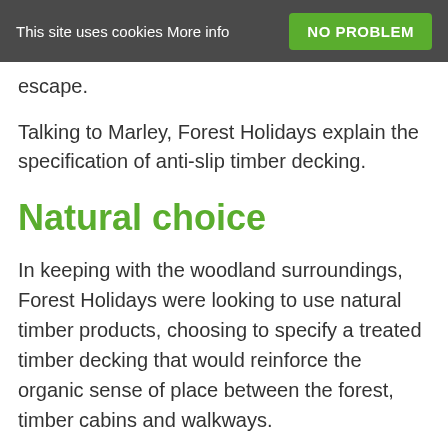This site uses cookies More info  NO PROBLEM
escape.
Talking to Marley, Forest Holidays explain the specification of anti-slip timber decking.
Natural choice
In keeping with the woodland surroundings, Forest Holidays were looking to use natural timber products, choosing to specify a treated timber decking that would reinforce the organic sense of place between the forest, timber cabins and walkways.